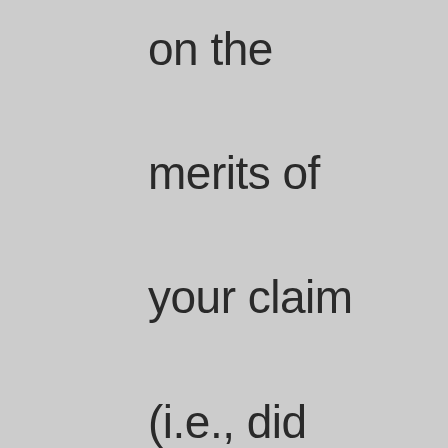on the merits of your claim (i.e., did not find waiver), then state